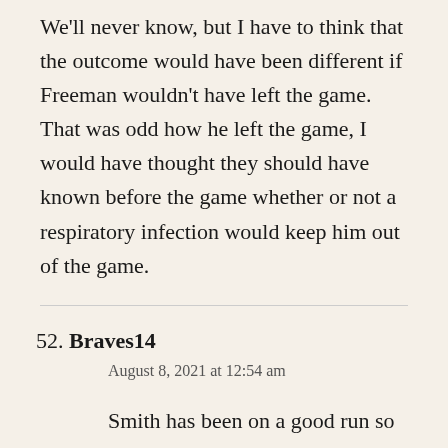We'll never know, but I have to think that the outcome would have been different if Freeman wouldn't have left the game. That was odd how he left the game, I would have thought they should have known before the game whether or not a respiratory infection would keep him out of the game.
52. Braves14
August 8, 2021 at 12:54 am
Smith has been on a good run so it's hard to get too mad at him. It's gonna happen on occasion to every reliever. He is frustrating to watch sometimes — his velocity and control